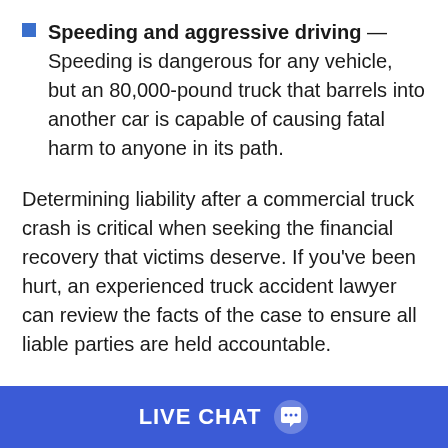Speeding and aggressive driving — Speeding is dangerous for any vehicle, but an 80,000-pound truck that barrels into another car is capable of causing fatal harm to anyone in its path.
Determining liability after a commercial truck crash is critical when seeking the financial recovery that victims deserve. If you've been hurt, an experienced truck accident lawyer can review the facts of the case to ensure all liable parties are held accountable.
Dangerous Roads and Intersections in Denver, CO
LIVE CHAT